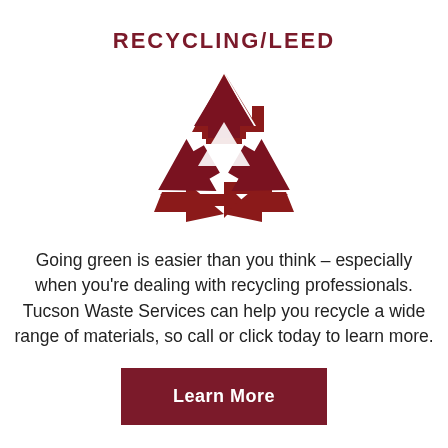RECYCLING/LEED
[Figure (illustration): Red recycling symbol (three chasing arrows forming a triangle) on white background]
Going green is easier than you think – especially when you're dealing with recycling professionals. Tucson Waste Services can help you recycle a wide range of materials, so call or click today to learn more.
Learn More
RESTROOMS/PORTABLE TOILETS